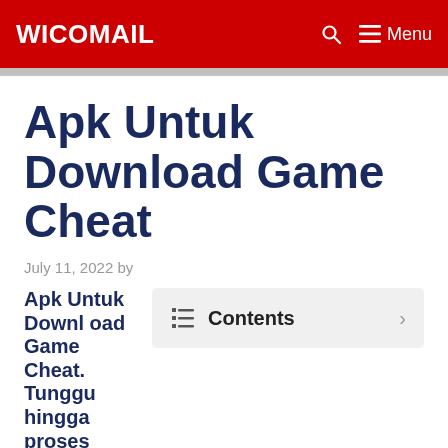WICOMAIL  Menu
Apk Untuk Download Game Cheat
July 11, 2022 by
Apk Untuk Download Game Cheat. Tunggu hingga proses instalasi selesai. lalu cek
[Figure (other): Contents toggle box with list icon and arrow]